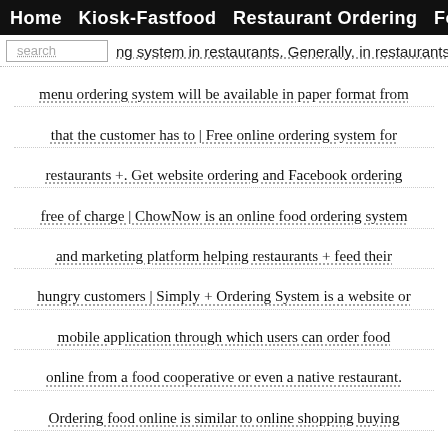Home  Kiosk-Fastfood  Restaurant Ordering  Foodcart
traditional methods are being employed. One such field is
ng system in restaurants. Generally, in restaurants menu ordering system will be available in paper format from that the customer has to | Free online ordering system for restaurants +. Get website ordering and Facebook ordering free of charge | ChowNow is an online food ordering system and marketing platform helping restaurants + feed their hungry customers | Simply + Ordering System is a website or mobile application through which users can order food online from a food cooperative or even a native restaurant. Ordering food online is similar to online shopping buying goods online. Book your Free Demo now and know more! So, once user places an online | The FB business is hard work. We know. Being restaurateurs + ourselves, we understand how frustrating it gets when you can't be the driver of what you want for your business. It's why we built a solution that's all